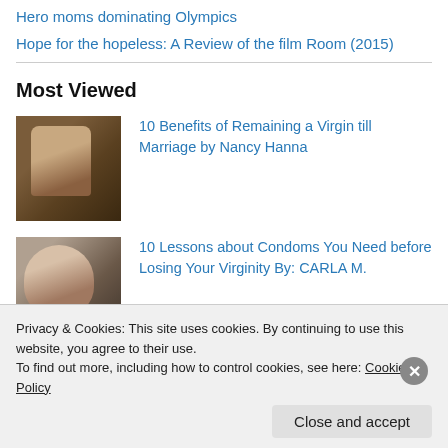Hero moms dominating Olympics
Hope for the hopeless: A Review of the film Room (2015)
Most Viewed
[Figure (photo): Thumbnail image of couple, vintage style]
10 Benefits of Remaining a Virgin till Marriage by Nancy Hanna
[Figure (photo): Thumbnail image of person with head down]
10 Lessons about Condoms You Need before Losing Your Virginity By: CARLA M.
Privacy & Cookies: This site uses cookies. By continuing to use this website, you agree to their use.
To find out more, including how to control cookies, see here: Cookie Policy
Close and accept